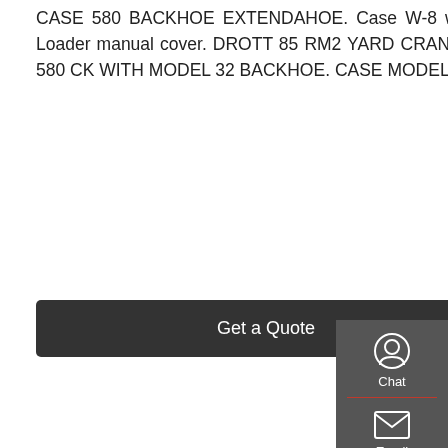CASE 580 BACKHOE EXTENDAHOE. Case W-8 wheel loader manual cover. Case W-10 Wheel Loader manual cover. DROTT 85 RM2 YARD CRANE. Case-Drott 85 RM2. DROTT 85 RM2. CASE 580 CK WITH MODEL 32 BACKHOE. CASE MODEL 32 BACKHOE. CASE 580 CK.
Get a Quote
[Figure (photo): Yellow excavator/backhoe construction machine on white background, with long arm extended upward and bucket attachment at base]